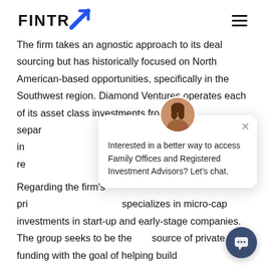FINTRX
The firm takes an agnostic approach to its deal sourcing but has historically focused on North American-based opportunities, specifically in the Southwest region. Diamond Ventures operates each of its asset class investments from separate... Partners specializing in... Ventures handling the re...
Regarding the firm's pri... specializes in micro-cap investments in start-up and early-stage companies. The group seeks to be the source of private funding with the goal of helping build